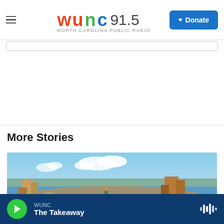WUNC 91.5 North Carolina Public Radio — Donate
More Stories
[Figure (photo): Flood disaster scene showing crumbled brick buildings and rubble surrounded by floodwater under a blue sky with white clouds; a person stands among the ruins.]
WUNC — The Takeaway